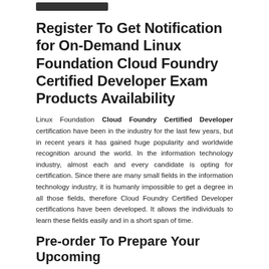[Logo]
Register To Get Notification for On-Demand Linux Foundation Cloud Foundry Certified Developer Exam Products Availability
Linux Foundation Cloud Foundry Certified Developer certification have been in the industry for the last few years, but in recent years it has gained huge popularity and worldwide recognition around the world. In the information technology industry, almost each and every candidate is opting for certification. Since there are many small fields in the information technology industry, it is humanly impossible to get a degree in all those fields, therefore Cloud Foundry Certified Developer certifications have been developed. It allows the individuals to learn these fields easily and in a short span of time.
Pre-order To Prepare Your Upcoming